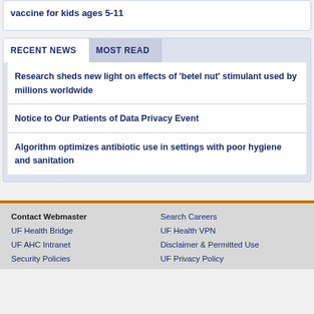vaccine for kids ages 5-11
RECENT NEWS | MOST READ
Research sheds new light on effects of 'betel nut' stimulant used by millions worldwide
Notice to Our Patients of Data Privacy Event
Algorithm optimizes antibiotic use in settings with poor hygiene and sanitation
Contact Webmaster | UF Health Bridge | UF AHC Intranet | Security Policies | Search Careers | UF Health VPN | Disclaimer & Permitted Use | UF Privacy Policy